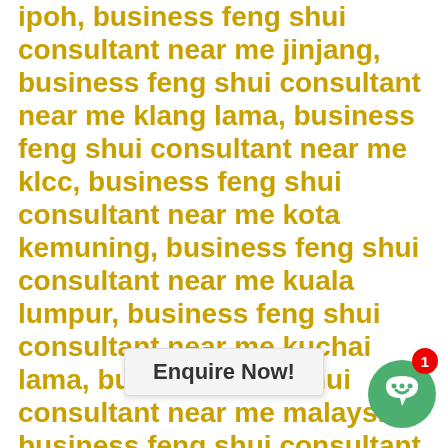ipoh, business feng shui consultant near me jinjang, business feng shui consultant near me klang lama, business feng shui consultant near me klcc, business feng shui consultant near me kota kemuning, business feng shui consultant near me kuala lumpur, business feng shui consultant near me kuchai lama, business feng shui consultant near me malaysia, business feng shui consultant near me manjalara, business feng shui consultant near me mid valley, business feng shui consultant near me pandan indah, business feng shui consultant near me pandan jaya, business feng shui consultant near me publika, business feng shui consultant near me salak south, business feng shui consultant near me selangor, business feng shui consultant near me selayang, business feng shui consultant near me sg besi, business feng shui consultant near me shah alam selangor, business feng shui consultant near me sri damansara, business feng shui
Enquire Now!